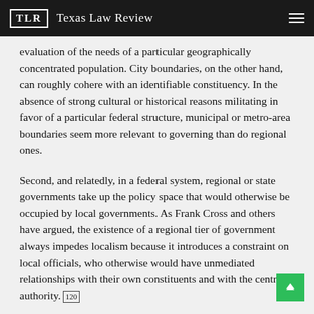TLR Texas Law Review
evaluation of the needs of a particular geographically concentrated population. City boundaries, on the other hand, can roughly cohere with an identifiable constituency. In the absence of strong cultural or historical reasons militating in favor of a particular federal structure, municipal or metro-area boundaries seem more relevant to governing than do regional ones.
Second, and relatedly, in a federal system, regional or state governments take up the policy space that would otherwise be occupied by local governments. As Frank Cross and others have argued, the existence of a regional tier of government always impedes localism because it introduces a constraint on local officials, who otherwise would have unmediated relationships with their own constituents and with the central authority. [120]
No doubt, a central authority can be dictatorial, as in any hierarchical system. But often central officials need the assistance and cooperation of local officials to implement national directives